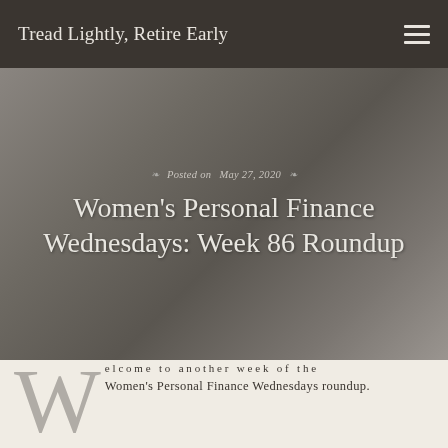Tread Lightly, Retire Early
Posted on May 27, 2020
Women's Personal Finance Wednesdays: Week 86 Roundup
Welcome to another week of the Women's Personal Finance Wednesdays roundup. I started this series after months of debate because I wasn't certain I wanted to up the ante and commit to publishing three posts a week. However, now that I've